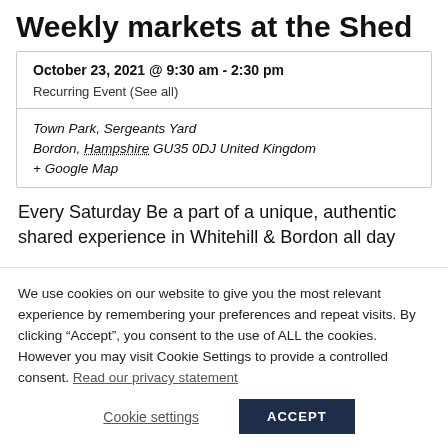Weekly markets at the Shed
October 23, 2021 @ 9:30 am - 2:30 pm
Recurring Event (See all)
Town Park, Sergeants Yard
Bordon, Hampshire GU35 0DJ United Kingdom
+ Google Map
Every Saturday Be a part of a unique, authentic shared experience in Whitehill & Bordon all day
We use cookies on our website to give you the most relevant experience by remembering your preferences and repeat visits. By clicking “Accept”, you consent to the use of ALL the cookies. However you may visit Cookie Settings to provide a controlled consent. Read our privacy statement
Cookie settings | ACCEPT